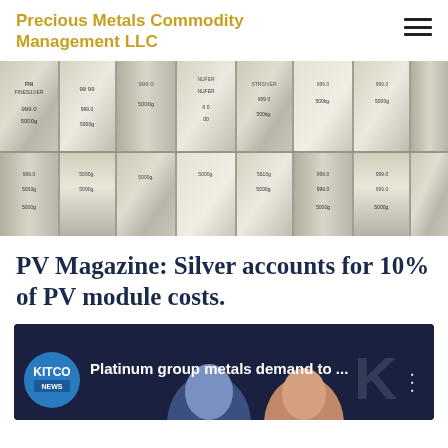Precious Metals Commodity Management LLC
[Figure (photo): Stack of silver bullion bars with markings showing 999.0 purity and 5000g weight stamps]
PV Magazine:  Silver accounts for 10% of PV module costs.
[Figure (screenshot): Kitco News video thumbnail titled 'Platinum group metals demand to ...' with two news anchors visible]